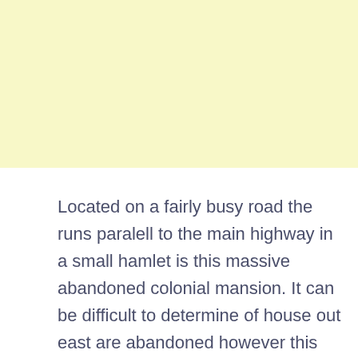[Figure (other): Light yellow/cream colored rectangular band occupying the top portion of the page]
Located on a fairly busy road the runs paralell to the main highway in a small hamlet is this massive abandoned colonial mansion. It can be difficult to determine of house out east are abandoned however this one seemed to display all the telltale signs. The grounds were somewhat maintained but not recently & side staircase had a pallet blocking it so Zenning with Zay & I decided to do a u-turn to